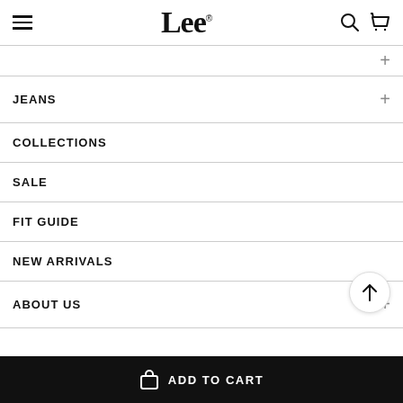Lee (logo header with hamburger menu, search, and cart icons)
+ (partial, top)
JEANS +
COLLECTIONS
SALE
FIT GUIDE
NEW ARRIVALS
ABOUT US +
ADD TO CART